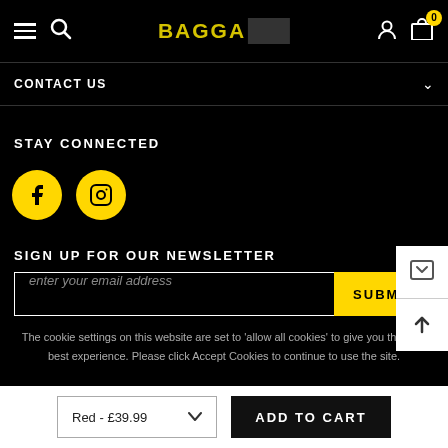[Figure (screenshot): Website header with hamburger menu, search icon, BAGGA logo in yellow, user icon, and cart icon with badge showing 0]
CONTACT US
STAY CONNECTED
[Figure (logo): Yellow circle with Facebook F icon]
[Figure (logo): Yellow circle with Instagram icon]
SIGN UP FOR OUR NEWSLETTER
enter your email address
SUBMIT
The cookie settings on this website are set to 'allow all cookies' to give you the very best experience. Please click Accept Cookies to continue to use the site.
© 202  PRIVACY POLICY  ACCEPT ✓  Jones
Red - £39.99
ADD TO CART